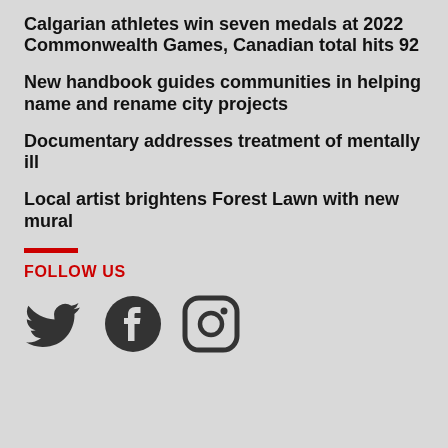Calgarian athletes win seven medals at 2022 Commonwealth Games, Canadian total hits 92
New handbook guides communities in helping name and rename city projects
Documentary addresses treatment of mentally ill
Local artist brightens Forest Lawn with new mural
FOLLOW US
[Figure (illustration): Social media icons: Twitter bird, Facebook f-circle, Instagram camera-square]